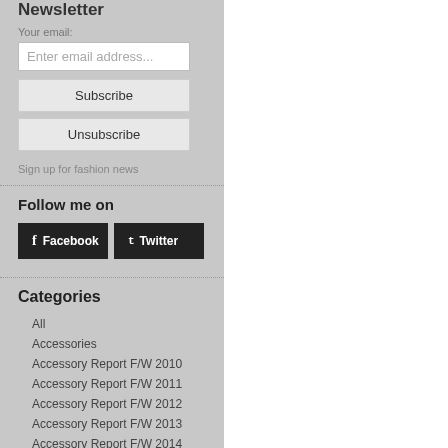Newsletter
Your email:
Enter email address...
Subscribe
Unsubscribe
Sign up for fashion news
Follow me on
Facebook
Twitter
Categories
All
Accessories
Accessory Report F/W 2010
Accessory Report F/W 2011
Accessory Report F/W 2012
Accessory Report F/W 2013
Accessory Report F/W 2014
Accessory Report F/W 2015